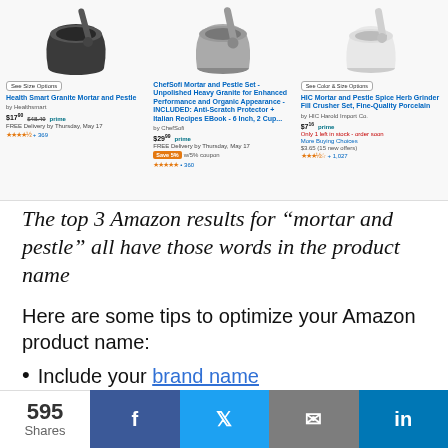[Figure (screenshot): Amazon search results screenshot showing top 3 products for 'mortar and pestle': 1) Health Smart Granite Mortar and Pestle by Healthsmart, $17.90 was $48.40, FREE Delivery by Thursday May 17, 4.5 stars, 369 reviews. 2) ChefSofi Mortar and Pestle Set - Unpolished Heavy Granite for Enhanced Performance and Organic Appearance - INCLUDED: Anti-Scratch Protector + Italian Recipes EBook - 6 Inch, 2 Cup, by ChefSofi, $29.99 prime, FREE Delivery by Thursday May 17, Save 5% with coupon, 5 stars, 360 reviews. 3) HIC Mortar and Pestle Spice Herb Grinder Fill Crusher Set, Fine-Quality Porcelain by HIC Harold Import Co., $7.16 prime, Only 1 left in stock - order soon, More Buying Choices $3.65 (15 new offers), 3.5 stars, 1,027 reviews.]
The top 3 Amazon results for “mortar and pestle” all have those words in the product name
Here are some tips to optimize your Amazon product name:
Include your brand name